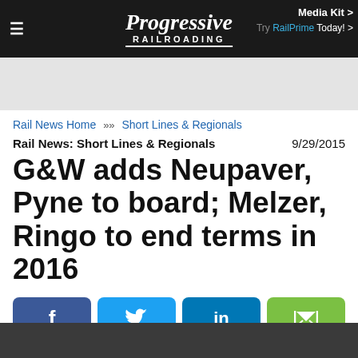Progressive Railroading | Media Kit | Try RailPrime Today!
Rail News Home >> Short Lines & Regionals
Rail News: Short Lines & Regionals   9/29/2015
G&W adds Neupaver, Pyne to board; Melzer, Ringo to end terms in 2016
[Figure (infographic): Social share buttons: Facebook, Twitter, LinkedIn, Share]
advertisement